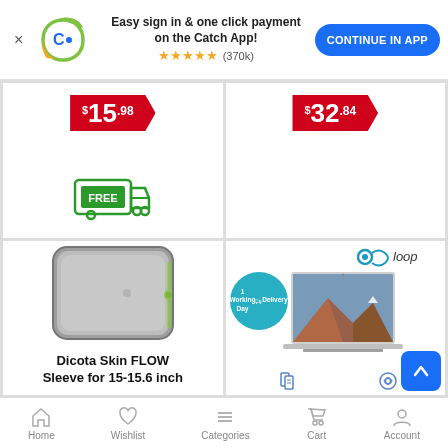[Figure (screenshot): App banner with Catch logo, text 'Easy sign in & one click payment on the Catch App!', star rating (370k reviews), and 'CONTINUE IN APP' button]
[Figure (infographic): Product card top-left with price badge $15.98 and free delivery truck icon]
[Figure (infographic): Product card top-right with price badge $32.84]
[Figure (photo): Dicota Skin FLOW Sleeve for 15-15.6 inch laptop sleeve product image, gray with green zipper]
Dicota Skin FLOW Sleeve for 15-15.6 inch
[Figure (photo): MacBook Air shown with Loop logo, 1 Working Day Delivery badge, Included Accessories and 12-Month Warranty icons]
MacBook Air i3 1.1GHz 13" (Early 2020) 256GB
Home  Wishlist  Categories  Cart  Account